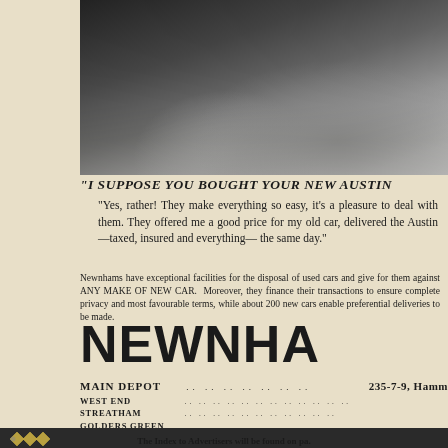[Figure (photo): Black and white photograph of a person standing next to an Austin car, partial view showing the car's wheel and body with a figure in a coat or dress beside it]
"I SUPPOSE YOU BOUGHT YOUR NEW AUSTIN
"Yes, rather! They make everything so easy, it's a ple them. They offered me a good price for my old ca delivered the Austin—taxed, insured and everyth the same day."
Newnhams have exceptional facilities for the disposal of used cars and g for them against ANY MAKE OF NEW CAR. Moreover, they finance t transactions to ensure complete privacy and most favourable terms, w about 200 new cars enable preferential deliveries to be made.
NEWNHA
MAIN DEPOT .. .. .. .. .. .. .. 235-7-9, Hamm
WEST END .. .. .. .. .. .. .. .. .. .. .. ..
STREATHAM .. .. .. .. .. .. .. .. .. .. .. ..
GOLDERS GREEN .. .. .. .. .. .. .. .. .. .. ..
SHOWROOMS OPEN FROM 9 a.m. TO 8 p.m   SATURDAYS INCLUDED
[Figure (illustration): Dark decorative bar with diamond/geometric symbols in gold]
The Index to Advertisers will be found on pa.